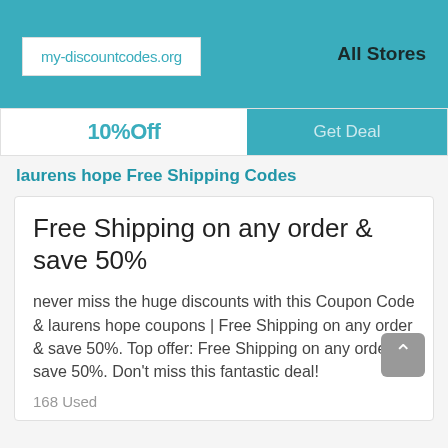my-discountcodes.org  All Stores
10%Off  Get Deal
laurens hope Free Shipping Codes
Free Shipping on any order & save 50%
never miss the huge discounts with this Coupon Code & laurens hope coupons | Free Shipping on any order & save 50%. Top offer: Free Shipping on any order & save 50%. Don't miss this fantastic deal!
168 Used